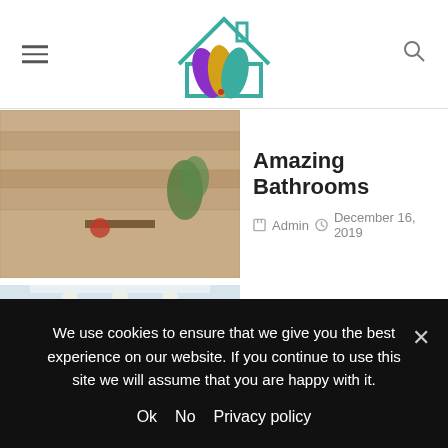[Figure (logo): Home decor website logo with colorful leaf shapes inside a house outline, teal color]
Amazing Bathrooms
Admin  December 16, 2019
[Figure (photo): Bathroom with textured stone wall and small shelf]
Makeup Mirror Design
Admin  December 16, 2019
[Figure (photo): Bright bathroom with blue accents and large mirror]
Bathroom Tile Ideas
Admin  December 16, 2019
[Figure (photo): Bathroom with white curtains and window]
We use cookies to ensure that we give you the best experience on our website. If you continue to use this site we will assume that you are happy with it.
Ok  No  Privacy policy